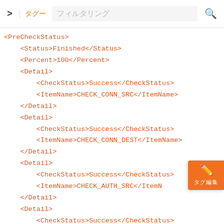> タグ フィルタリング 🔍
<PreCheckStatus>
    <Status>Finished</Status>
    <Percent>100</Percent>
    <Detail>
        <CheckStatus>Success</CheckStatus>
        <ItemName>CHECK_CONN_SRC</ItemName>
    </Detail>
    <Detail>
        <CheckStatus>Success</CheckStatus>
        <ItemName>CHECK_CONN_DEST</ItemName>
    </Detail>
    <Detail>
        <CheckStatus>Success</CheckStatus>
        <ItemName>CHECK_AUTH_SRC</ItemN
    </Detail>
    <Detail>
        <CheckStatus>Success</CheckStatus>
        <ItemName>CHECK_AUTH_DEST</ItemName>
    </Detail>
    <Detail>